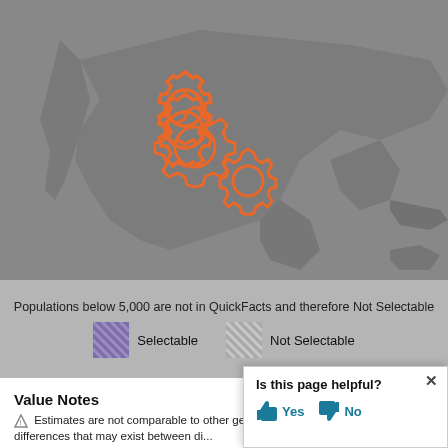[Figure (map): Gray map showing geographic regions (Mexico and surrounding areas) with two gear/cog icons in orange outline overlaid in the center, indicating a 'Not Selectable' or loading state.]
Populations below 5,000 are not in QuickFacts and therefore Not Selectable
[Figure (infographic): Two legend swatches: a purple/blue hatched swatch labeled 'Selectable' and a gray hatched swatch labeled 'Not Selectable']
Value Notes
⚠ Estimates are not comparable to other geographic levels due to methodology differences that may exist between di...
Some estimates presented here come from sample sampling errors that may render some apparent difference between...
[Figure (infographic): Feedback popup: 'Is this page helpful?' with Yes (thumbs up) and No (thumbs down) buttons and an X close button.]